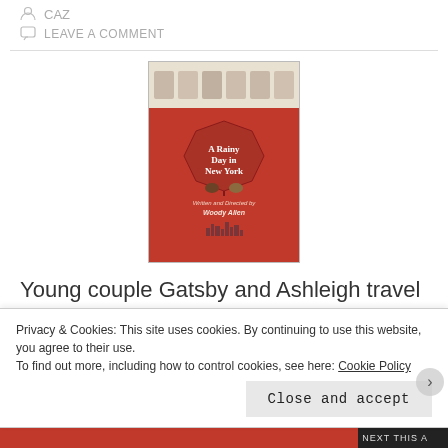CAZ
LEAVE A COMMENT
[Figure (photo): Movie poster for 'A Rainy Day in New York', written and directed by Woody Allen. Shows a red umbrella and two figures, with cast photos along the top.]
Young couple Gatsby and Ashleigh travel to New York City for a week, as she has an interview with famous film director Roland Pollard and writer Ted
Privacy & Cookies: This site uses cookies. By continuing to use this website, you agree to their use.
To find out more, including how to control cookies, see here: Cookie Policy
Close and accept